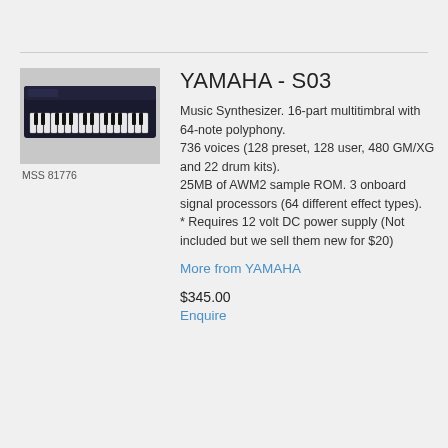[Figure (photo): Photo of a Yamaha S03 music synthesizer keyboard, dark colored, with label MSS 81776 below it on a gray background]
YAMAHA - S03
Music Synthesizer. 16-part multitimbral with 64-note polyphony.
736 voices (128 preset, 128 user, 480 GM/XG and 22 drum kits).
25MB of AWM2 sample ROM. 3 onboard signal processors (64 different effect types).
* Requires 12 volt DC power supply (Not included but we sell them new for $20)
More from YAMAHA
$345.00
Enquire